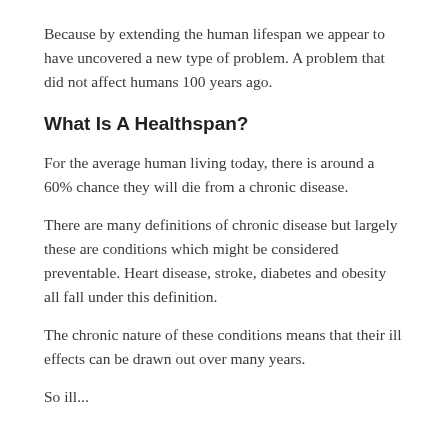Because by extending the human lifespan we appear to have uncovered a new type of problem. A problem that did not affect humans 100 years ago.
What Is A Healthspan?
For the average human living today, there is around a 60% chance they will die from a chronic disease.
There are many definitions of chronic disease but largely these are conditions which might be considered preventable. Heart disease, stroke, diabetes and obesity all fall under this definition.
The chronic nature of these conditions means that their ill effects can be drawn out over many years.
So while...